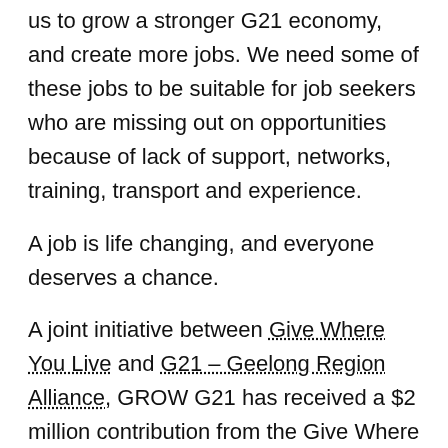The joint efforts of the GROW G21 Network will enable us to grow a stronger G21 economy, and create more jobs. We need some of these jobs to be suitable for job seekers who are missing out on opportunities because of lack of support, networks, training, transport and experience.
A job is life changing, and everyone deserves a chance.
A joint initiative between Give Where You Live and G21 – Geelong Region Alliance, GROW G21 has received a $2 million contribution from the Give Where You Live Foundation, matching funds from the Victorian State Government and $300,000 from the Alec Foundation.